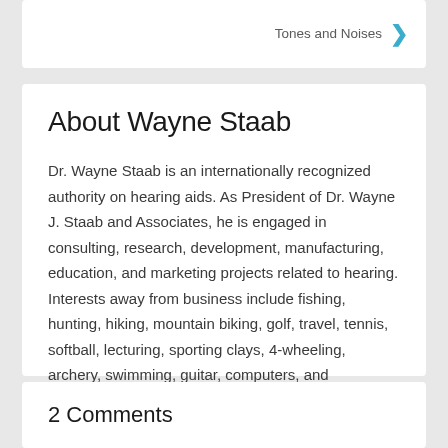Tones and Noises
About Wayne Staab
Dr. Wayne Staab is an internationally recognized authority on hearing aids. As President of Dr. Wayne J. Staab and Associates, he is engaged in consulting, research, development, manufacturing, education, and marketing projects related to hearing. Interests away from business include fishing, hunting, hiking, mountain biking, golf, travel, tennis, softball, lecturing, sporting clays, 4-wheeling, archery, swimming, guitar, computers, and photography. Among other pursuits.
2 Comments